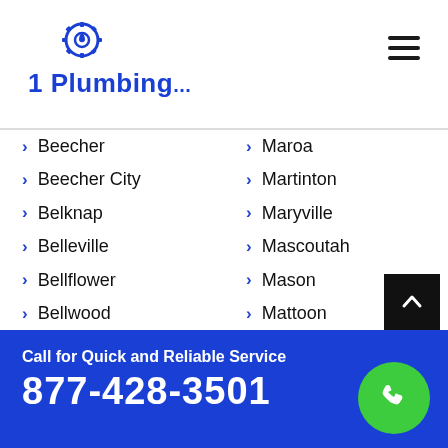1 Plumbing
Beecher
Beecher City
Belknap
Belleville
Bellflower
Bellwood
Beloit
Belvidere
Bement
Benld
Maroa
Martinton
Maryville
Mascoutah
Mason
Mattoon
Maywood
Mazon
Mc Connell
Mc Lean
Call for Quick and Reliable Service 877-428-3501